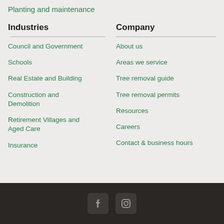Planting and maintenance
Industries
Council and Government
Schools
Real Estate and Building
Construction and Demolition
Retirement Villages and Aged Care
Insurance
Company
About us
Areas we service
Tree removal guide
Tree removal permits
Resources
Careers
Contact & business hours
[Figure (other): Social media icons for Facebook and Instagram in dark footer bar]